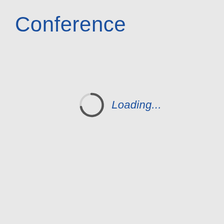Conference
[Figure (screenshot): A loading spinner (partial circle arc in dark grey) with italic blue text reading 'Loading...' to its right, centered in the page.]